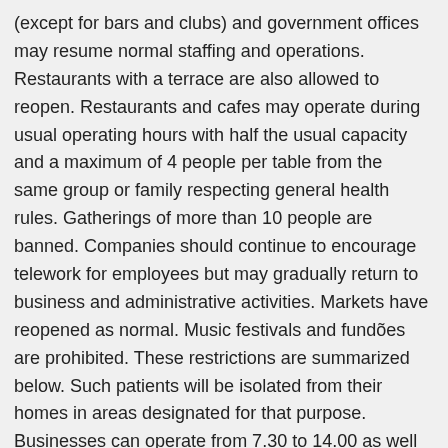(except for bars and clubs) and government offices may resume normal staffing and operations. Restaurants with a terrace are also allowed to reopen. Restaurants and cafes may operate during usual operating hours with half the usual capacity and a maximum of 4 people per table from the same group or family respecting general health rules. Gatherings of more than 10 people are banned. Companies should continue to encourage telework for employees but may gradually return to business and administrative activities. Markets have reopened as normal. Music festivals and fundões are prohibited. These restrictions are summarized below. Such patients will be isolated from their homes in areas designated for that purpose. Businesses can operate from 7.30 to 14.00 as well as administration from 7.30 to 15.30. Classes for students who plan to take the baccalaureate exam in August will resume on July 20. Gabon is a country in Western Central Africa.It lies on the Equator, on the Atlantic Ocean coast, between the Republic of the Congo to the south and east, Equatorial Guinea to the northwest and Cameroon to the north.. A small population, as well as oil and mineral reserves have helped